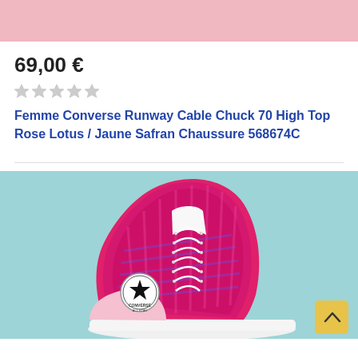[Figure (photo): Pink background banner at top of page]
69,00 €
[Figure (other): Five empty/unfilled star rating icons in gray]
Femme Converse Runway Cable Chuck 70 High Top Rose Lotus / Jaune Safran Chaussure 568674C
[Figure (photo): Product photo of a Converse Chuck 70 High Top sneaker in pink/magenta/red woven pattern with white laces on a light blue background. The Converse All Star logo circle patch is visible on the ankle. A yellow scroll-to-top button is in the bottom right corner.]